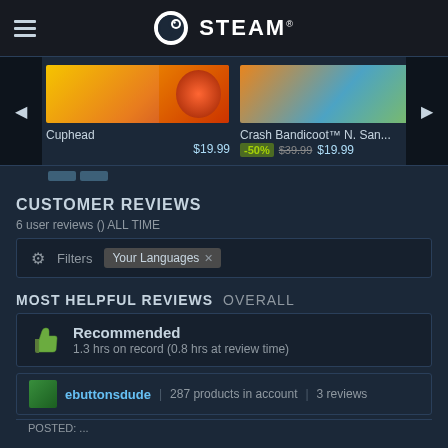STEAM
[Figure (screenshot): Steam game store carousel showing Cuphead at $19.99, Crash Bandicoot N. San... at -50% $39.99 $19.99, and Terra partially visible, with left/right navigation arrows]
CUSTOMER REVIEWS
6 user reviews () ALL TIME
Filters  Your Languages ×
MOST HELPFUL REVIEWS OVERALL
Recommended
1.3 hrs on record (0.8 hrs at review time)
ebuttonsdude | 287 products in account | 3 reviews